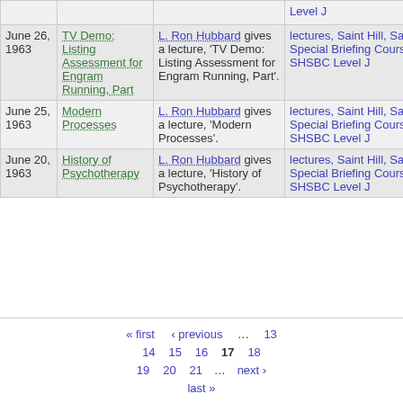| Date | Title | Description | Category |
| --- | --- | --- | --- |
|  |  |  | Level J |
| June 26, 1963 | TV Demo: Listing Assessment for Engram Running, Part | L. Ron Hubbard gives a lecture, 'TV Demo: Listing Assessment for Engram Running, Part'. | lectures, Saint Hill, Saint Hill Special Briefing Course, SHSBC Level J |
| June 25, 1963 | Modern Processes | L. Ron Hubbard gives a lecture, 'Modern Processes'. | lectures, Saint Hill, Saint Hill Special Briefing Course, SHSBC Level J |
| June 20, 1963 | History of Psychotherapy | L. Ron Hubbard gives a lecture, 'History of Psychotherapy'. | lectures, Saint Hill, Saint Hill Special Briefing Course, SHSBC Level J |
« first ‹ previous … 13 14 15 16 17 18 19 20 21 … next › last »